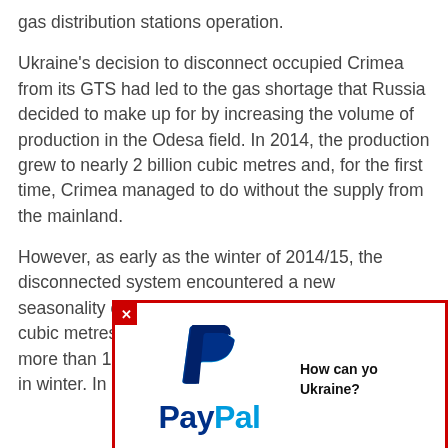gas distribution stations operation.
Ukraine's decision to disconnect occupied Crimea from its GTS had led to the gas shortage that Russia decided to make up for by increasing the volume of production in the Odesa field. In 2014, the production grew to nearly 2 billion cubic metres and, for the first time, Crimea managed to do without the supply from the mainland.
However, as early as the winter of 2014/15, the disconnected system encountered a new... seasonality of cons... cubic metres a day... more than 12 milli... in winter. In other words, they had a
[Figure (other): PayPal donation popup with red border, PayPal logo and icon, and text 'How can you Ukraine?']